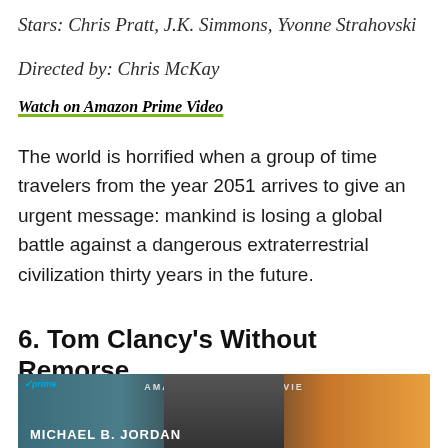Stars: Chris Pratt, J.K. Simmons, Yvonne Strahovski
Directed by: Chris McKay
Watch on Amazon Prime Video
The world is horrified when a group of time travelers from the year 2051 arrives to give an urgent message: mankind is losing a global battle against a dangerous extraterrestrial civilization thirty years in the future.
6. Tom Clancy's Without Remorse
[Figure (photo): Movie poster for Tom Clancy's Without Remorse showing Michael B. Jordan. Amazon Original Movie branding at top. Prime video badge in top left corner. Dark teal left side with actor's face in center, warm orange right side with silhouetted architecture. Text 'MICHAEL B. JORDAN' in white at bottom left.]